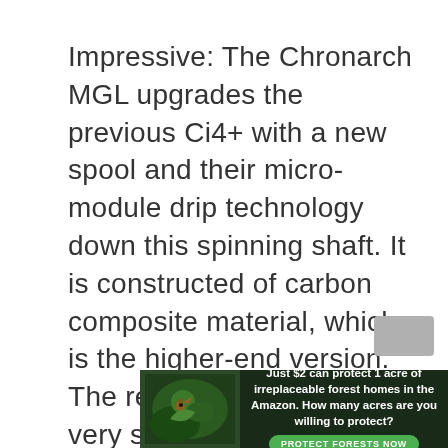Impressive: The Chronarch MGL upgrades the previous Ci4+ with a new spool and their micro-module drip technology down this spinning shaft. It is constructed of carbon composite material, which is the higher-end version. The red metal pieces are very subtle and well dispersed.
[Figure (other): Advertisement banner: forest background with bird image on left. Text reads 'Just $2 can protect 1 acre of irreplaceable forest homes in the Amazon. How many acres are you willing to protect?' with a green 'PROTECT FORESTS NOW' button.]